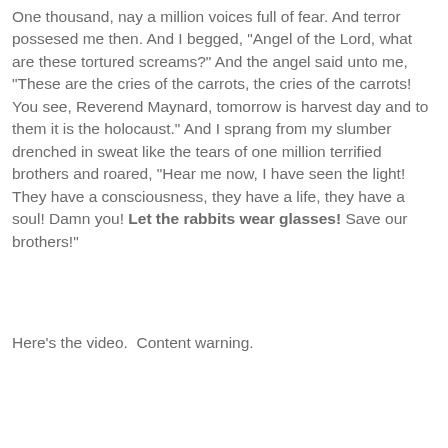One thousand, nay a million voices full of fear. And terror possesed me then. And I begged, "Angel of the Lord, what are these tortured screams?" And the angel said unto me, "These are the cries of the carrots, the cries of the carrots! You see, Reverend Maynard, tomorrow is harvest day and to them it is the holocaust." And I sprang from my slumber drenched in sweat like the tears of one million terrified brothers and roared, "Hear me now, I have seen the light! They have a consciousness, they have a life, they have a soul! Damn you! Let the rabbits wear glasses! Save our brothers!"
Here's the video.  Content warning.